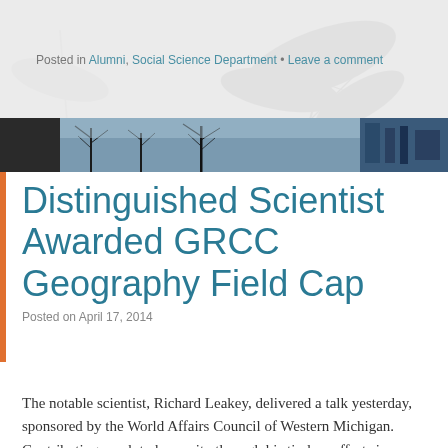Posted in Alumni, Social Science Department • Leave a comment
[Figure (photo): Horizontal photo banner strip showing outdoor scenes with bare trees and buildings]
Distinguished Scientist Awarded GRCC Geography Field Cap
Posted on April 17, 2014
The notable scientist, Richard Leakey, delivered a talk yesterday, sponsored by the World Affairs Council of Western Michigan. Contributing much to humanity through his tireless efforts in exploring the earth, uncovering secrets of the past, assessing